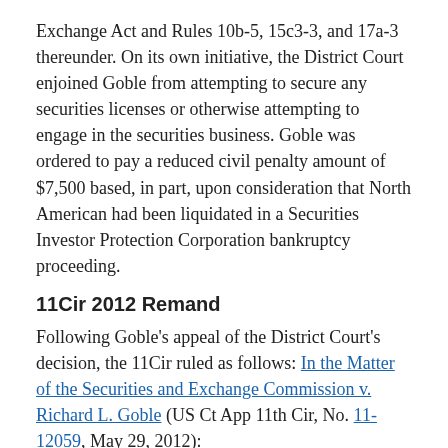Exchange Act and Rules 10b-5, 15c3-3, and 17a-3 thereunder. On its own initiative, the District Court enjoined Goble from attempting to secure any securities licenses or otherwise attempting to engage in the securities business. Goble was ordered to pay a reduced civil penalty amount of $7,500 based, in part, upon consideration that North American had been liquidated in a Securities Investor Protection Corporation bankruptcy proceeding.
11Cir 2012 Remand
Following Goble's appeal of the District Court's decision, the 11Cir ruled as follows: In the Matter of the Securities and Exchange Commission v. Richard L. Goble (US Ct App 11th Cir, No. 11-12059, May 29, 2012):
affirmed the District Court's judgment that Goble aided and abetted North American's violations of